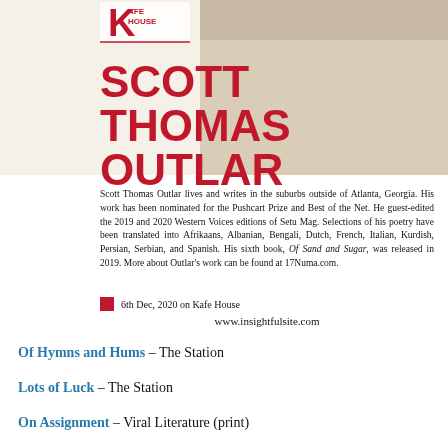[Figure (photo): Top banner with Kafe House logo and photo of a person near wooden furniture]
SCOTT THOMAS OUTLAR
Scott Thomas Outlar lives and writes in the suburbs outside of Atlanta, Georgia. His work has been nominated for the Pushcart Prize and Best of the Net. He guest-edited the 2019 and 2020 Western Voices editions of Setu Mag. Selections of his poetry have been translated into Afrikaans, Albanian, Bengali, Dutch, French, Italian, Kurdish, Persian, Serbian, and Spanish. His sixth book, Of Sand and Sugar, was released in 2019. More about Outlar's work can be found at 17Numa.com.
6th Dec, 2020 on Kafe House
www.insightfulsite.com
Of Hymns and Hums – The Station
Lots of Luck – The Station
On Assignment – Viral Literature (print)
Collective Hysteria – Viral Literature (print)